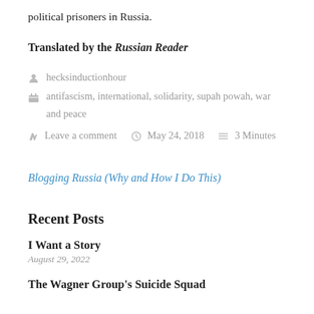political prisoners in Russia.
Translated by the Russian Reader
hecksinductionhour
antifascism, international, solidarity, supah powah, war and peace
Leave a comment   May 24, 2018   3 Minutes
Blogging Russia (Why and How I Do This)
Recent Posts
I Want a Story
August 29, 2022
The Wagner Group's Suicide Squad